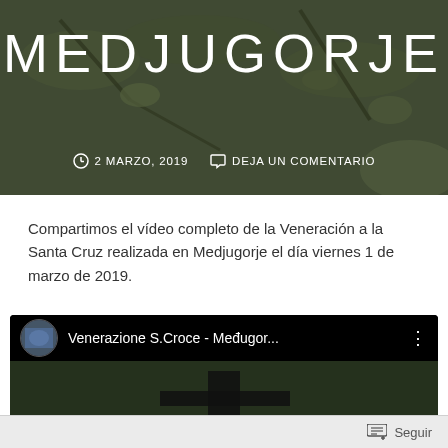MEDJUGORJE
2 MARZO, 2019   DEJA UN COMENTARIO
Compartimos el vídeo completo de la Veneración a la Santa Cruz realizada en Medjugorje el día viernes 1 de marzo de 2019.
[Figure (screenshot): YouTube video embed showing 'Venerazione S.Croce - Međugor...' with circular avatar thumbnail and video frame showing hands raised against a cross silhouette]
Seguir